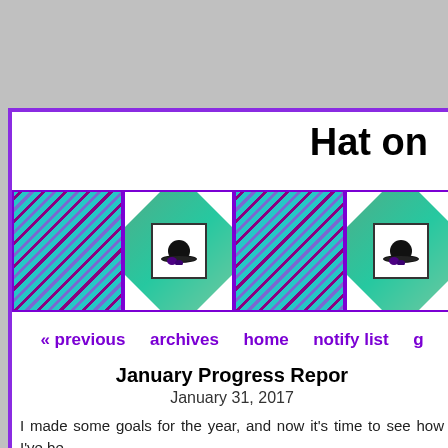Hat on
[Figure (illustration): Decorative quilt banner with repeating quilt block pattern in teal, green, and purple with bowler hat motif in alternating squares]
« previous   archives   home   notify list   g
January Progress Report
January 31, 2017
I made some goals for the year, and now it's time to see how I've be
1. I will participate in the photo a day and photo a week projects. Yes. Done. The photos have been taken and uploaded and tagged even caught up with posting the daily ones, which was something I m
2. I will read 52 books (up from 35 in 2016). At least 15 of those Read Harder Challenge task.